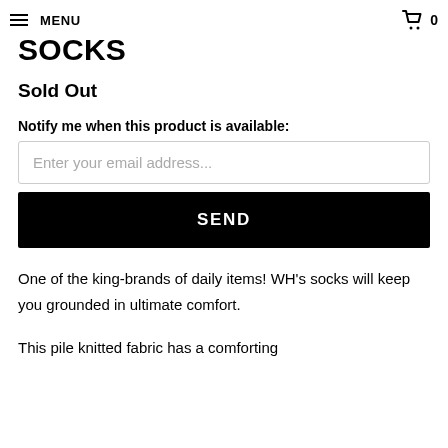MENU  0
"PILE" LONG STRIPED SOCKS
Sold Out
Notify me when this product is available:
Enter your email address...
SEND
One of the king-brands of daily items! WH's socks will keep you grounded in ultimate comfort.
This pile knitted fabric has a comforting